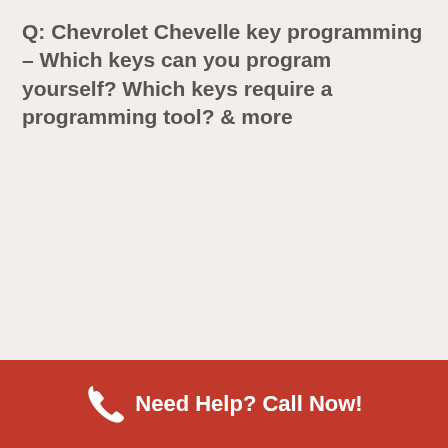Q: Chevrolet Chevelle key programming – Which keys can you program yourself? Which keys require a programming tool? & more
Need Help? Call Now!